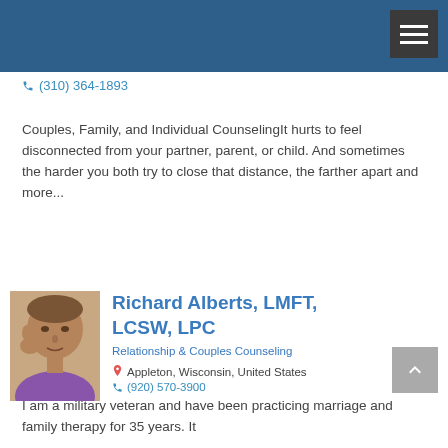(310) 364-1893
Couples, Family, and Individual CounselingIt hurts to feel disconnected from your partner, parent, or child. And sometimes the harder you both try to close that distance, the farther apart and more...
Richard Alberts, LMFT, LCSW, LPC
Relationship & Couples Counseling
Appleton, Wisconsin, United States
(920) 570-3900
I am a military veteran and have been practicing marriage and family therapy for 35 years. It